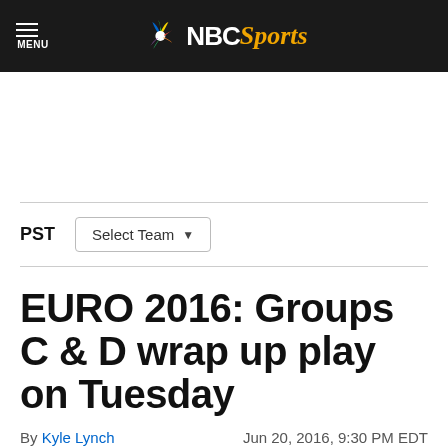NBC Sports
PST  Select Team
EURO 2016: Groups C & D wrap up play on Tuesday
By Kyle Lynch   Jun 20, 2016, 9:30 PM EDT